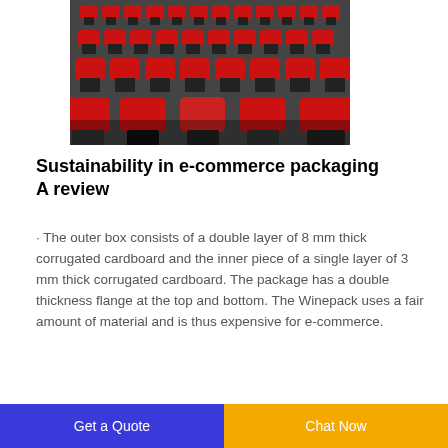[Figure (photo): Rows of red and black chairs/seats arranged in a large indoor space, photographed from an elevated angle.]
Sustainability in e-commerce packaging A review
· The outer box consists of a double layer of 8 mm thick corrugated cardboard and the inner piece of a single layer of 3 mm thick corrugated cardboard. The package has a double thickness flange at the top and bottom. The Winepack uses a fair amount of material and is thus expensive for e-commerce.